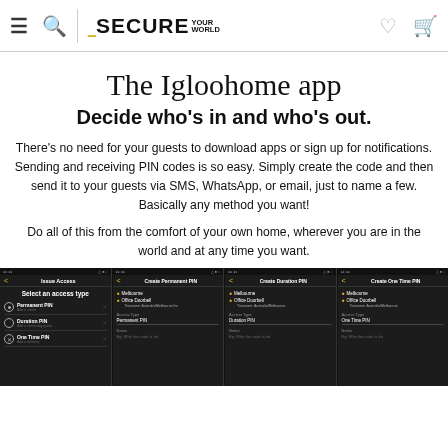SECURE YOUR WORLD
The Igloohome app
Decide who's in and who's out.
There's no need for your guests to download apps or sign up for notifications. Sending and receiving PIN codes is so easy. Simply create the code and then send it to your guests via SMS, WhatsApp, or email, just to name a few. Basically any method you want!
Do all of this from the comfort of your own home, wherever you are in the world and at any time you want.
[Figure (screenshot): Four smartphone app screenshots showing the Igloohome app interface: 'Issue Access' screen with Select an access type (Permanent PIN, Duration PIN, One Time PIN), 'Create Permanent PIN' screen, 'Create Duration PIN' screen, and 'Create One Time PIN' screen. All screens show dark UI with Melbourne, Office Doorbell, and Timezone Australia/Melbourne options.]